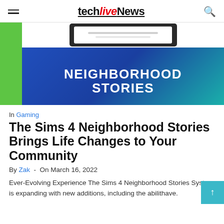techliveNews
[Figure (photo): The Sims 4 Neighborhood Stories promotional image showing a tablet screen and the text NEIGHBORHOOD STORIES on a blue gradient background with green strip on the left.]
In Gaming
The Sims 4 Neighborhood Stories Brings Life Changes to Your Community
By Zak  -  On March 16, 2022
Ever-Evolving Experience The Sims 4 Neighborhood Stories System is expanding with new additions, including the abilit… have.